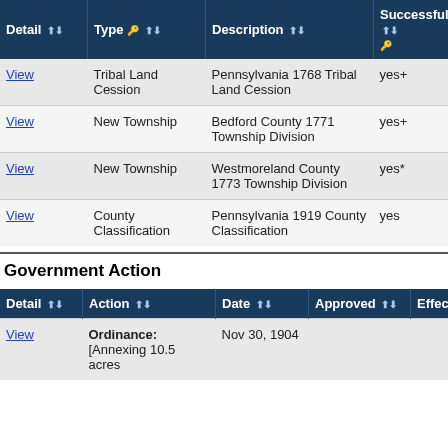| Detail | Type | Description | Successful? | Da |
| --- | --- | --- | --- | --- |
| View | Tribal Land Cession | Pennsylvania 1768 Tribal Land Cession | yes+ | 1768 |
| View | New Township | Bedford County 1771 Township Division | yes+ | Apr 1771 |
| View | New Township | Westmoreland County 1773 Township Division | yes* | Apr 1773 |
| View | County Classification | Pennsylvania 1919 County Classification | yes | Jul 1 1919 |
Government Action
| Detail | Action | Date | Approved | Effective |
| --- | --- | --- | --- | --- |
| View | Ordinance: [Annexing 10.5 acres | Nov 30, 1904 |  |  |